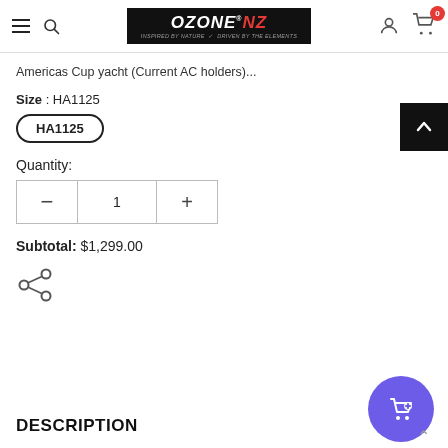Ozone NZ – navigation bar with hamburger menu, search, logo, user icon, cart (0)
Americas Cup yacht (Current AC holders)...
Size : HA1125
HA1125
Quantity:
1
Subtotal: $1,299.00
[Figure (other): Share icon (three connected circles)]
DESCRIPTION